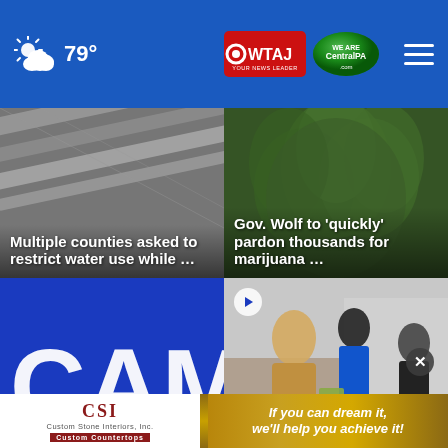79° | WTAJ CentralPA.com
[Figure (screenshot): News tile: water pipes/greenhouse photo with headline 'Multiple counties asked to restrict water use while ...']
[Figure (screenshot): News tile: cannabis/marijuana plant photo with headline 'Gov. Wolf to ‘quickly’ pardon thousands for marijuana ...']
[Figure (screenshot): News tile: blue CAM sign/camera logo]
[Figure (screenshot): Video tile: people at outdoor event with play button icon]
[Figure (screenshot): Advertisement: CSI Custom Stone Interiors - Custom Countertops. 'If you can dream it, we'll help you achieve it!']